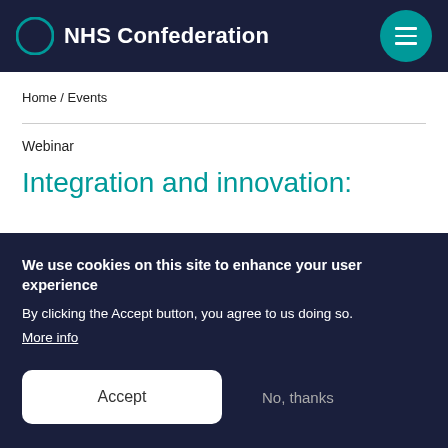NHS Confederation
Home / Events
Webinar
Integration and innovation:
We use cookies on this site to enhance your user experience
By clicking the Accept button, you agree to us doing so.
More info
Accept
No, thanks